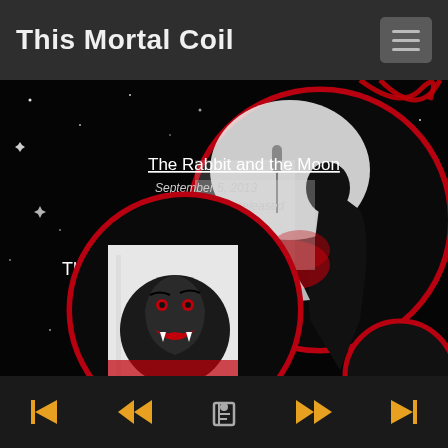This Mortal Coil
[Figure (screenshot): Dark graphic novel/comic app interface showing two circular panels with black-and-white-and-red artwork. Left circle shows a roaring tiger/beast, right circle shows a noir-style man with a microphone. Text overlays: 'The Rabbit and the Moon', 'September 5, 2013', 'First 6 chapters released', 'The Earthenware Jar'. Background is a starry black space scene with red circular borders.]
Navigation bar with skip-back, rewind, book/library, fast-forward, skip-forward icons in orange/yellow